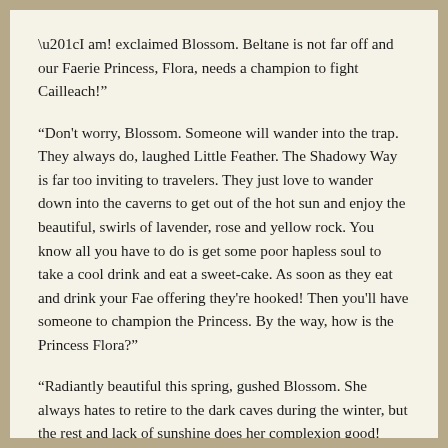“I am! exclaimed Blossom.  Beltane is not far off and our Faerie Princess, Flora, needs a champion to fight Cailleach!”
“Don't worry, Blossom.  Someone will wander into the trap.  They always do, laughed Little Feather.  The Shadowy Way is far too inviting to travelers.  They just love to wander down into the caverns to get out of the hot sun and enjoy the beautiful, swirls of lavender, rose and yellow rock.  You know all you have to do is get some poor hapless soul to take a cool drink and eat a sweet-cake.  As soon as they eat and drink your Fae offering they're hooked!  Then you'll have someone to champion the Princess.  By the way, how is the Princess Flora?”
“Radiantly beautiful this spring, gushed Blossom.  She always hates to retire to the dark caves during the winter, but the rest and lack of sunshine does her complexion good!  Why, just this morning at dawn we